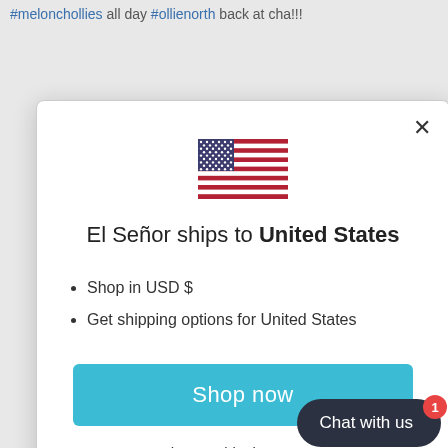#melonchollies all day #ollienorth back at cha!!!
[Figure (screenshot): A modal dialog popup on a white background with a US flag icon, title 'El Señor ships to United States', bullet points listing shop currency and shipping options, a blue 'Shop now' button, and a 'Change shipping country' link. A dark 'Chat with us' widget with a red badge showing '1' appears in the bottom right.]